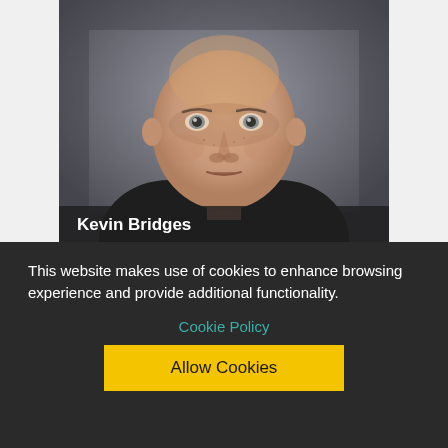[Figure (photo): Headshot portrait of Kevin Bridges, a bald/closely-shaved man in a dark suit jacket, looking directly at camera against a grey background.]
Kevin Bridges
This website makes use of cookies to enhance browsing experience and provide additional functionality.
Cookie Policy
Allow Cookies